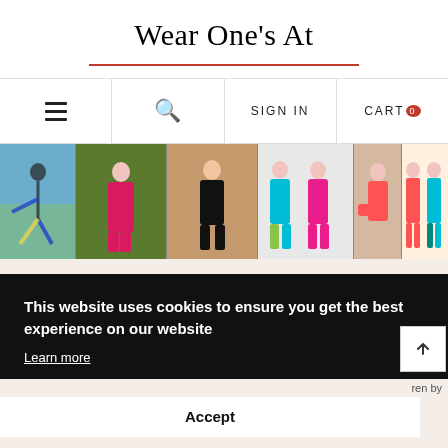Wear One's At
[Figure (screenshot): Navigation bar with hamburger menu, search icon, SIGN IN, and CART 0 buttons]
[Figure (photo): Photo strip showing women in colorful activewear/jumpsuits in various poses]
This website uses cookies to ensure you get the best experience on our website
Learn more
Accept